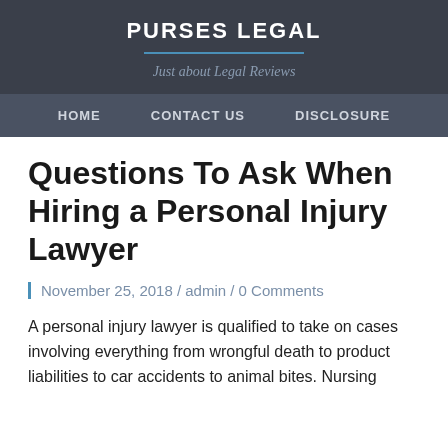PURSES LEGAL
Just about Legal Reviews
HOME   CONTACT US   DISCLOSURE
Questions To Ask When Hiring a Personal Injury Lawyer
November 25, 2018 / admin / 0 Comments
A personal injury lawyer is qualified to take on cases involving everything from wrongful death to product liabilities to car accidents to animal bites. Nursing